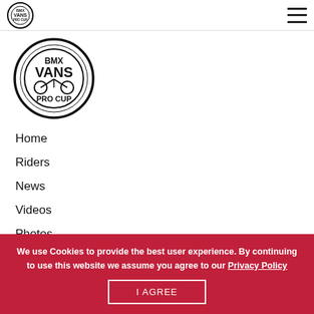[Figure (logo): Vans BMX Pro Cup circular logo, small, in header bar]
[Figure (logo): Vans BMX Pro Cup large circular logo displayed in navigation area]
Home
Riders
News
Videos
Photos
Athlete Registration
We use Cookies to provide the best user experience. By continuing to use this website we assume you agree to our Privacy Policy
I AGREE